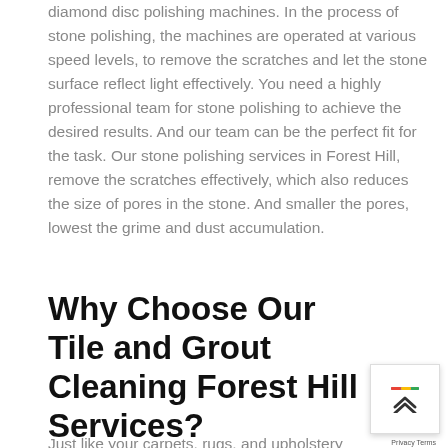diamond disc polishing machines. In the process of stone polishing, the machines are operated at various speed levels, to remove the scratches and let the stone surface reflect light effectively. You need a highly professional team for stone polishing to achieve the desired results. And our team can be the perfect fit for the task. Our stone polishing services in Forest Hill, remove the scratches effectively, which also reduces the size of pores in the stone. And smaller the pores, lowest the grime and dust accumulation.
Why Choose Our Tile and Grout Cleaning Forest Hill Services?
Just like your carpets, rugs, and upholstery